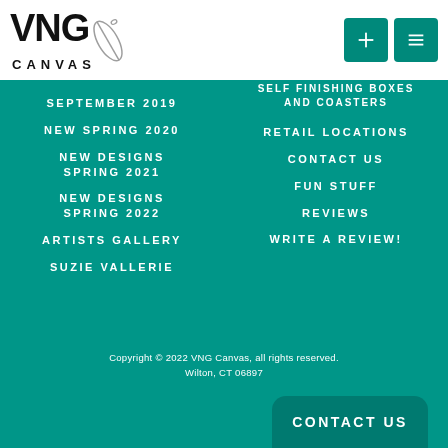[Figure (logo): VNG Canvas logo with needle and thread graphic, black text on white background]
SEPTEMBER 2019
NEW SPRING 2020
NEW DESIGNS SPRING 2021
NEW DESIGNS SPRING 2022
ARTISTS GALLERY
SUZIE VALLERIE
SELF FINISHING BOXES AND COASTERS
RETAIL LOCATIONS
CONTACT US
FUN STUFF
REVIEWS
WRITE A REVIEW!
Copyright © 2022 VNG Canvas, all rights reserved.
Wilton, CT 06897
CONTACT US